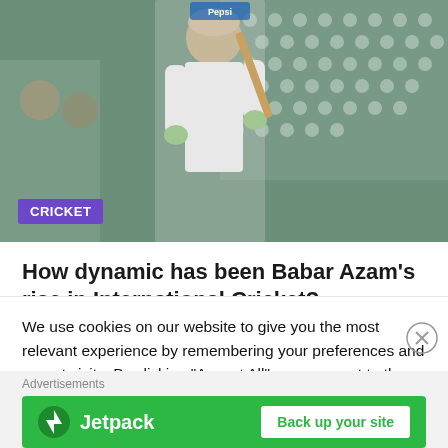[Figure (photo): Cricket player in white uniform holding bat, green stadium seats in background. CRICKET badge overlay in purple bottom-left.]
How dynamic has been Babar Azam’s rise in International Cricket?
June 13, 2022 / khateebbuch
Making of a modern-day great: Babar Azam. Remember the time when every young batsman playing for…
We use cookies on our website to give you the most relevant experience by remembering your preferences and repeat visits. By clicking “Accept All”, you consent to the use of ALL the cookies. However, you may visit “Cookie Settings” to provide a controlled consent.
Advertisements
[Figure (screenshot): Jetpack advertisement banner: green background with Jetpack logo and 'Back up your site' button]